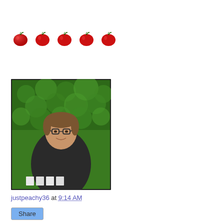[Figure (illustration): Five red apple icons in a row, used as a rating or decorative element]
[Figure (photo): Portrait photo of a man with glasses and brown hair, wearing a dark shirt, sitting in front of green hedge/bushes, with white chairs or furniture visible in front]
justpeachy36 at 9:14 AM
Share